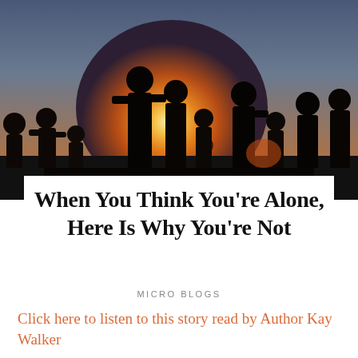[Figure (photo): Silhouettes of a group of people standing against a warm sunset sky with orange and yellow hues, creating a dramatic backlit scene.]
When You Think You're Alone, Here Is Why You're Not
MICRO BLOGS
Click here to listen to this story read by Author Kay Walker